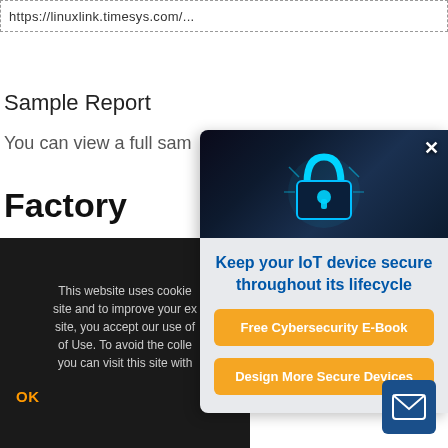https://linuxlink.timesys.com/...
Sample Report
You can view a full sam...
Factory
With an active subscri...
This website uses cookie... site and to improve your ex... site, you accept our use of... of Use. To avoid the colle... you can visit this site with...
OK
[Figure (illustration): IoT security popup modal showing a glowing cyan padlock on a dark circuit board background with title 'Keep your IoT device secure throughout its lifecycle', two orange CTA buttons: 'Free Cybersecurity E-Book' and 'Design More Secure Devices', a close X button, and a blue mail icon button in the bottom right.]